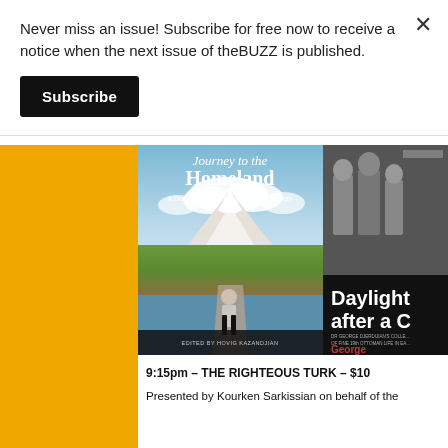Never miss an issue! Subscribe for free now to receive a notice when the next issue of theBUZZ is published.
Subscribe
[Figure (photo): Movie poster for 'Journey to the Homeland', a Documentary Film by Nora Hovsepian. Shows a woman standing in front of a mountain landscape with clouds. Text at bottom: EDITED BY HOVIG KAZANDJIAN]
[Figure (photo): Partially visible black and white book/film cover 'Daylight after a C...' with historical photo of men in suits, mentions Dr. George Djerdijian's collection of fine 19th Ottoman life in Eastern... George...]
9:15pm – THE RIGHTEOUS TURK – $10
Presented by Kourken Sarkissian on behalf of the